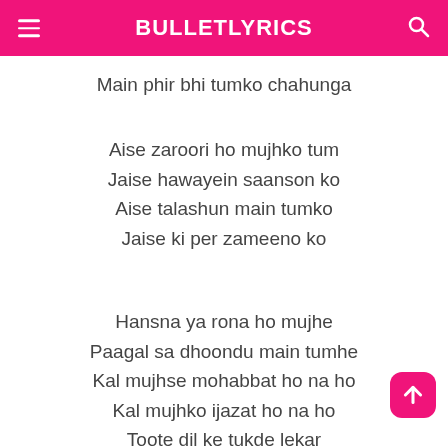BULLETLYRICS
Main phir bhi tumko chahunga
Aise zaroori ho mujhko tum
Jaise hawayein saanson ko
Aise talashun main tumko
Jaise ki per zameeno ko
Hansna ya rona ho mujhe
Paagal sa dhoondu main tumhe
Kal mujhse mohabbat ho na ho
Kal mujhko ijazat ho na ho
Toote dil ke tukde lekar
Tere darr pe hi reh jaaunga